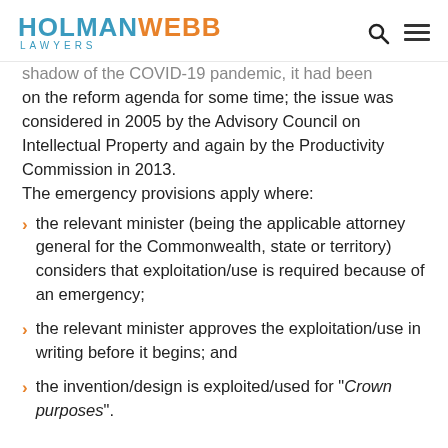HOLMAN WEBB LAWYERS
shadow of the COVID-19 pandemic, it had been on the reform agenda for some time; the issue was considered in 2005 by the Advisory Council on Intellectual Property and again by the Productivity Commission in 2013.
The emergency provisions apply where:
the relevant minister (being the applicable attorney general for the Commonwealth, state or territory) considers that exploitation/use is required because of an emergency;
the relevant minister approves the exploitation/use in writing before it begins; and
the invention/design is exploited/used for "Crown purposes".